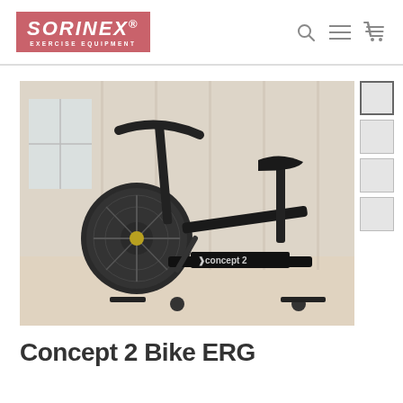[Figure (logo): Sorinex Exercise Equipment logo — red/pink background with white bold italic text SORINEX and subtitle EXERCISE EQUIPMENT]
[Figure (photo): Concept 2 Bike ERG exercise bike photographed in a gym/home setting against a wooden wall background. The air resistance bike is shown in dark grey/black with the Concept 2 branding visible on the frame.]
Concept 2 Bike ERG